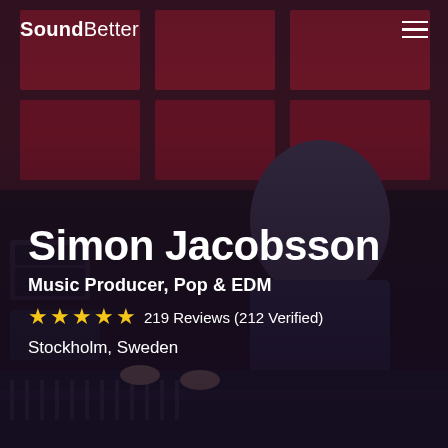[Figure (photo): A man sitting at a recording studio mixing board, looking down at the console. He has glasses and is wearing a dark blue long-sleeve shirt. The studio has dark red acoustic panels on the walls. The image has a dark overlay. SoundBetter profile hero image.]
SoundBetter
Simon Jacobsson
Music Producer, Pop & EDM
★★★★★ 219 Reviews (212 Verified)
Stockholm, Sweden